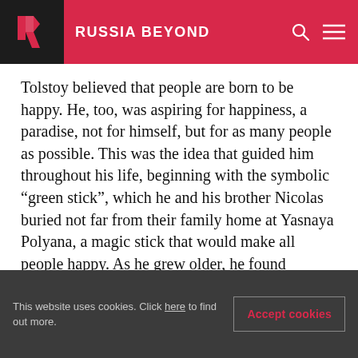RUSSIA BEYOND
Tolstoy believed that people are born to be happy. He, too, was aspiring for happiness, a paradise, not for himself, but for as many people as possible. This was the idea that guided him throughout his life, beginning with the symbolic “green stick”, which he and his brother Nicolas buried not far from their family home at Yasnaya Polyana, a magic stick that would make all people happy. As he grew older, he found happiness to be as elusive as ever.
This website uses cookies. Click here to find out more. Accept cookies